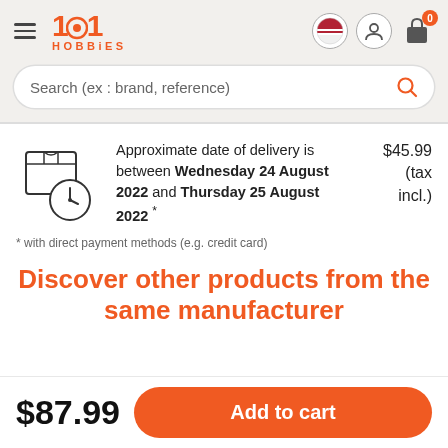[Figure (logo): 1001 Hobbies logo in orange with hamburger menu and header icons (flag, user, cart with 0 badge)]
Search (ex : brand, reference)
[Figure (illustration): Shipping box with clock icon indicating delivery time]
Approximate date of delivery is between Wednesday 24 August 2022 and Thursday 25 August 2022 *
$45.99 (tax incl.)
* with direct payment methods (e.g. credit card)
Discover other products from the same manufacturer
$87.99
Add to cart